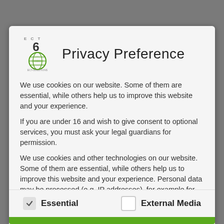[Figure (logo): ECT logo: green globe with number 6 above it, small text ECT at top]
Privacy Preference
We use cookies on our website. Some of them are essential, while others help us to improve this website and your experience.
If you are under 16 and wish to give consent to optional services, you must ask your legal guardians for permission.
We use cookies and other technologies on our website. Some of them are essential, while others help us to improve this website and your experience. Personal data may be processed (e.g. IP addresses), for example for personalized ads and content or ad and content measurement. You can find more information about the use of your data in our
Essential
External Media